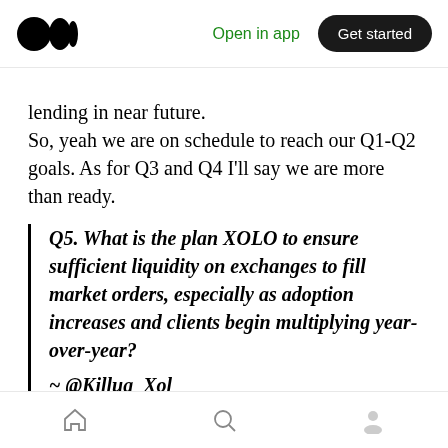Medium app header — Open in app | Get started
lending in near future.
So, yeah we are on schedule to reach our Q1-Q2 goals. As for Q3 and Q4 I'll say we are more than ready.
Q5. What is the plan XOLO to ensure sufficient liquidity on exchanges to fill market orders, especially as adoption increases and clients begin multiplying year-over-year?

~ @Killua_Xol
We are providing a fair amount of liquidity on
Bottom navigation bar — Home | Search | Profile